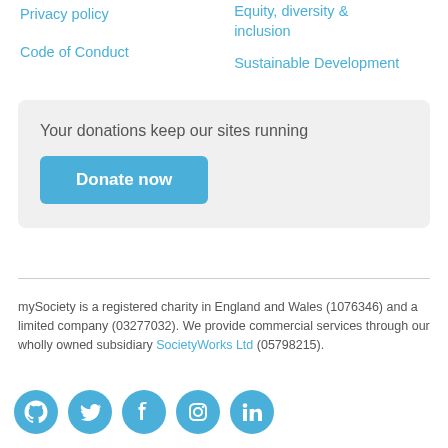Privacy policy
Code of Conduct
Equity, diversity & inclusion
Sustainable Development
Your donations keep our sites running
Donate now
mySociety is a registered charity in England and Wales (1076346) and a limited company (03277032). We provide commercial services through our wholly owned subsidiary SocietyWorks Ltd (05798215).
[Figure (other): Social media icons for GitHub, Twitter, Facebook, Instagram, and LinkedIn]